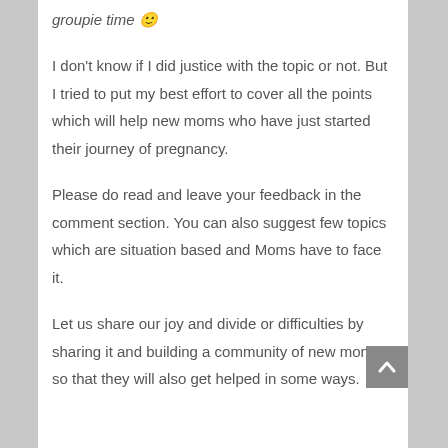groupie time 🙂
I don't know if I did justice with the topic or not. But I tried to put my best effort to cover all the points which will help new moms who have just started their journey of pregnancy.
Please do read and leave your feedback in the comment section. You can also suggest few topics which are situation based and Moms have to face it.
Let us share our joy and divide or difficulties by sharing it and building a community of new moms so that they will also get helped in some ways.